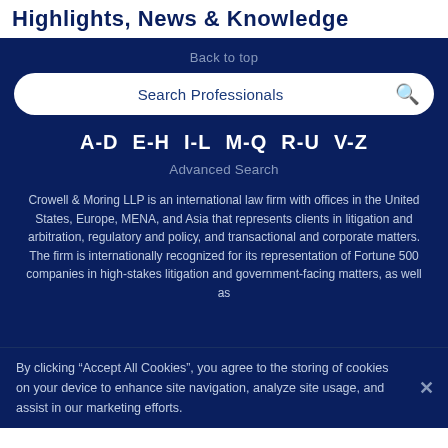Highlights, News & Knowledge
Back to top
Search Professionals
A-D   E-H   I-L   M-Q   R-U   V-Z
Advanced Search
Crowell & Moring LLP is an international law firm with offices in the United States, Europe, MENA, and Asia that represents clients in litigation and arbitration, regulatory and policy, and transactional and corporate matters. The firm is internationally recognized for its representation of Fortune 500 companies in high-stakes litigation and government-facing matters, as well as
By clicking “Accept All Cookies”, you agree to the storing of cookies on your device to enhance site navigation, analyze site usage, and assist in our marketing efforts.